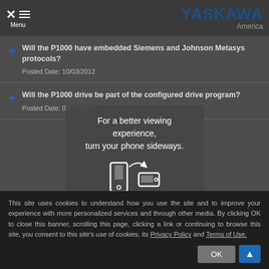YASKAWA America
Will the P1000 have embedded Siemens and Johnson Metasys protocols?
Posted Date: 10/03/2012
Will the P1000 drive be part of the configured drive program?
Posted Date: 08/17/2012
For a better viewing experience, turn your phone sideways.
This site uses cookies to understand how you use the site and to improve your experience with more personalized services and through other media. By clicking OK to close this banner, scrolling this page, clicking a link or continuing to browse this site, you consent to this site's use of cookies, its Privacy Policy and Terms of Use.